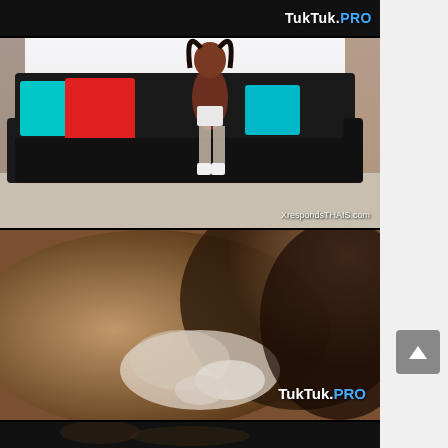[Figure (screenshot): Website screenshot showing video thumbnails from TukTuk.PRO adult content site. Three video thumbnail panels visible stacked vertically on left side, with a scroll-to-top button on the right side.]